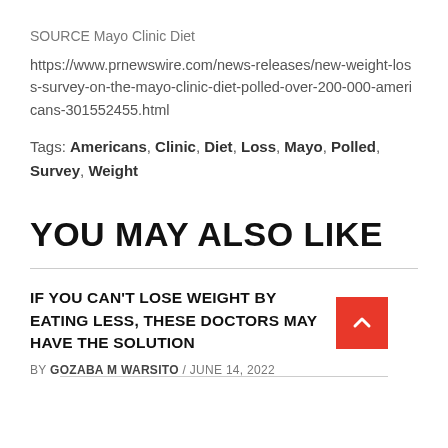SOURCE Mayo Clinic Diet
https://www.prnewswire.com/news-releases/new-weight-loss-survey-on-the-mayo-clinic-diet-polled-over-200-000-americans-301552455.html
Tags: Americans, Clinic, Diet, Loss, Mayo, Polled, Survey, Weight
YOU MAY ALSO LIKE
IF YOU CAN'T LOSE WEIGHT BY EATING LESS, THESE DOCTORS MAY HAVE THE SOLUTION
BY GOZABA M WARSITO / JUNE 14, 2022